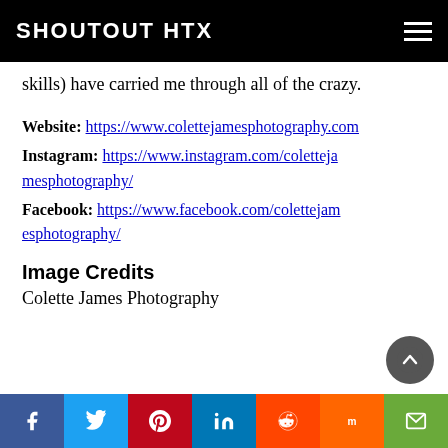SHOUTOUT HTX
skills) have carried me through all of the crazy.
Website: https://www.colettejamesphotography.com
Instagram: https://www.instagram.com/colettejamesphotography/
Facebook: https://www.facebook.com/colettejamesphotography/
Image Credits
Colette James Photography